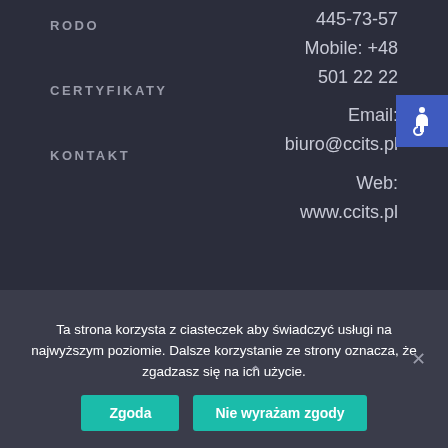RODO
CERTYFIKATY
KONTAKT
445-73-57
Mobile: +48
501 22 22
Email:
biuro@ccits.pl
Web:
www.ccits.pl
Ta strona korzysta z ciasteczek aby świadczyć usługi na najwyższym poziomie. Dalsze korzystanie ze strony oznacza, że zgadzasz się na ich użycie.
Zgoda
Nie wyrażam zgody